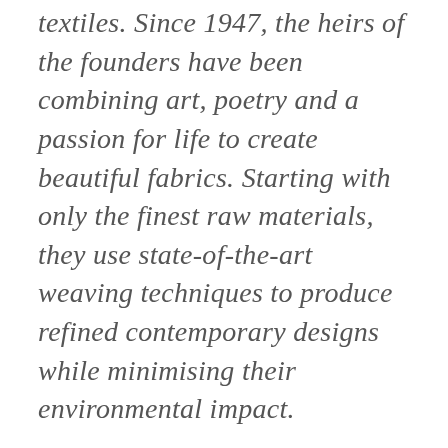textiles. Since 1947, the heirs of the founders have been combining art, poetry and a passion for life to create beautiful fabrics. Starting with only the finest raw materials, they use state-of-the-art weaving techniques to produce refined contemporary designs while minimising their environmental impact.
The fabric is imported and these elegant linen tablecloths are then hand-made in Australia. These gorgeously designed pieces will bring "interior joy" to your home and joy to every dining occasion.